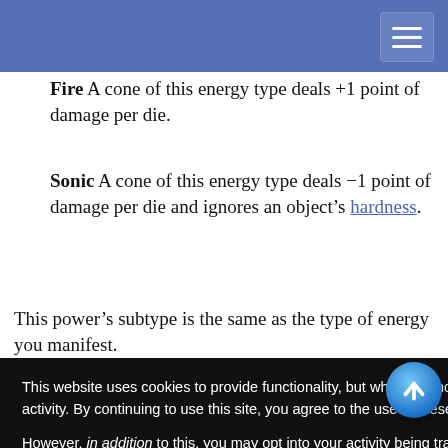Fire A cone of this energy type deals +1 point of damage per die.
Sonic A cone of this energy type deals −1 point of damage per die and ignores an object’s hardness.
This power’s subtype is the same as the type of energy you manifest.
[partially obscured] ...er point you ...ses by one die ...mage, this
[partially obscured] ...elect an ...ains psionic ...mage at the
This website uses cookies to provide functionality, but which are not used to track your activity. By continuing to use this site, you agree to the use of these cookies.

However, in addition to this, you may opt into your activity being tracked in order to help us improve our service.

For more information, please click here
Section 15: Complete Note...